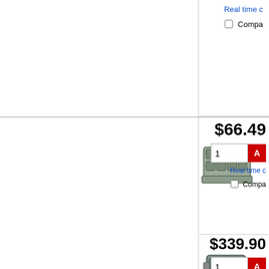[Figure (photo): Electronic connector component product image, gray/silver multi-port connector]
Real time c
Compa
$66.49
[Figure (photo): Electronic connector component product image, gray industrial connector block]
Real time c
Compa
$339.90
[Figure (photo): Electronic connector housing product image, dark gray rectangular connector]
Real time c
Compa
$35.763
Each (In a
[Figure (photo): Electronic connector housing product image, small gray connector]